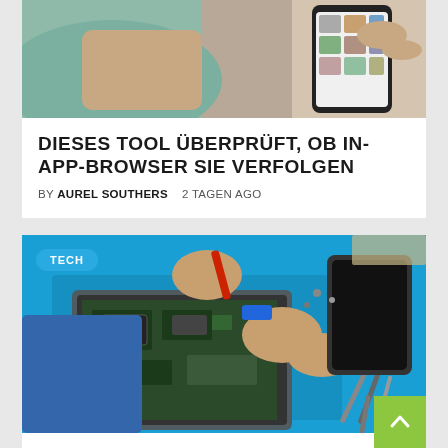[Figure (photo): Person holding a smartphone, partial view, top portion of first article card]
DIESES TOOL ÜBERPRÜFT, OB IN-APP-BROWSER SIE VERFOLGEN
BY AUREL SOUTHERS   2 TAGEN AGO
[Figure (photo): Technician repairing a laptop on a blue surface with screwdrivers and tools, with a TECH badge overlay]
APPLES SELBSTREPARATUR ERWEITERT AB DIENSTAG AUF MACBOOKS